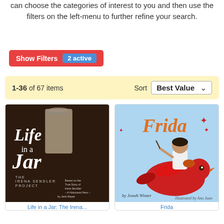can choose the categories of interest to you and then use the filters on the left-menu to further refine your search.
Show Filters  2 active
1-36 of 67 items  Sort  Best Value
[Figure (screenshot): Book cover for 'Life in a Jar: The Irena Sendler Project' by Jack Mayer. Dark brown background with a glass jar and white text.]
[Figure (screenshot): Book cover for 'Frida' by Jonah Winter, illustrated by Ana Juan. Light blue background with a girl riding a red bird, orange script title.]
Life in a Jar: The Irena...
Frida